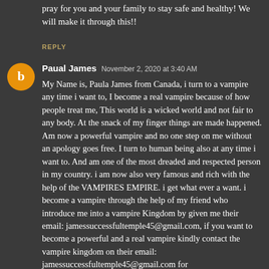pray for you and your family to stay safe and healthy! We will make it through this!!
REPLY
Paual James  November 2, 2020 at 3:40 AM
My Name is, Paula James from Canada, i turn to a vampire any time i want to, I become a real vampire because of how people treat me, This world is a wicked world and not fair to any body. At the snack of my finger things are made happened. Am now a powerful vampire and no one step on me without an apology goes free. I turn to human being also at any time i want to. And am one of the most dreaded and respected person in my country. i am now also very famous and rich with the help of the VAMPIRES EMPIRE. i get what ever a want. i become a vampire through the help of my friend who introduce me into a vampire Kingdom by given me their email: jamessuccessfultemple45@gmail.com, if you want to become a powerful and a real vampire kindly contact the vampire kingdom on their email: jamessuccessfultemple45@gmail.com for